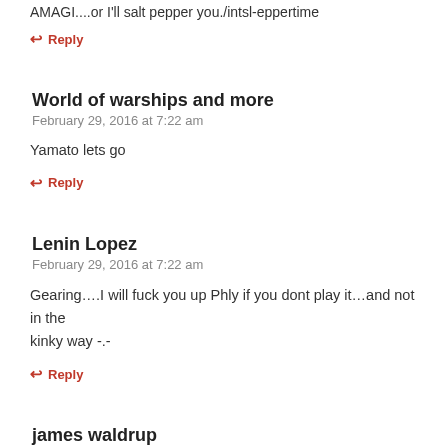AMAGI....or I'll salt pepper you./intsl-eppertime
↩ Reply
World of warships and more
February 29, 2016 at 7:22 am
Yamato lets go
↩ Reply
Lenin Lopez
February 29, 2016 at 7:22 am
Gearing….I will fuck you up Phly if you dont play it…and not in the kinky way -.-
↩ Reply
james waldrup